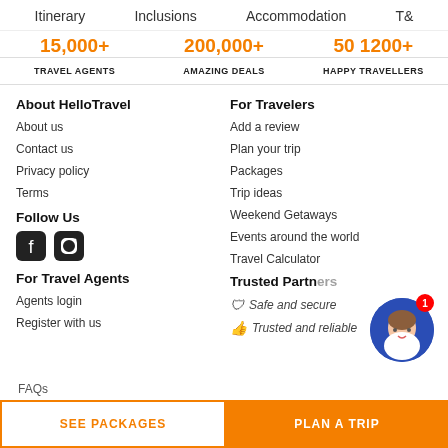Itinerary   Inclusions   Accommodation   T&
15,000+   200,000+   50 1200+
TRAVEL AGENTS   AMAZING DEALS   HAPPY TRAVELLERS
About HelloTravel
About us
Contact us
Privacy policy
Terms
For Travelers
Add a review
Plan your trip
Packages
Trip ideas
Weekend Getaways
Events around the world
Travel Calculator
Follow Us
For Travel Agents
Agents login
Register with us
Trusted Partners
Safe and secure
Trusted and reliable
SEE PACKAGES
PLAN A TRIP